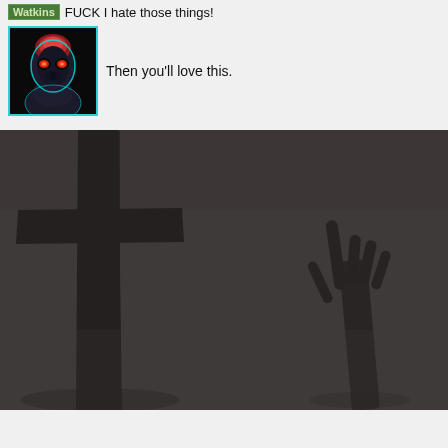Watkins FUCK I hate those things!
[Figure (illustration): Avatar image of an alien creature with red glowing eyes, dark body, cyan/teal glowing outline, against a black background]
Then you'll love this.
[Figure (illustration): Dark moody image showing large shadowy silhouettes - a cross/pole on the left and a claw-like hand raised on the right, against a dark grey foggy background]